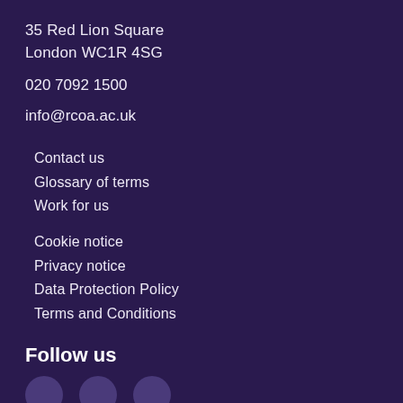35 Red Lion Square
London WC1R 4SG
020 7092 1500
info@rcoa.ac.uk
Contact us
Glossary of terms
Work for us
Cookie notice
Privacy notice
Data Protection Policy
Terms and Conditions
Follow us
[Figure (illustration): Three social media icon circles partially visible at the bottom of the page]